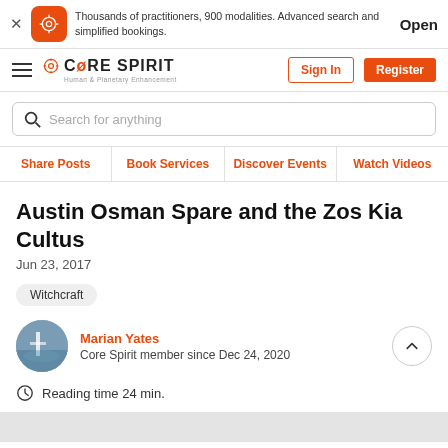Thousands of practitioners, 900 modalities. Advanced search and simplified bookings. Open
[Figure (logo): Core Spirit logo with hamburger menu, Sign In and Register buttons]
Search for anything
Share Posts | Book Services | Discover Events | Watch Videos
Austin Osman Spare and the Zos Kia Cultus
Jun 23, 2017
Witchcraft
Marian Yates
Core Spirit member since Dec 24, 2020
Reading time 24 min.